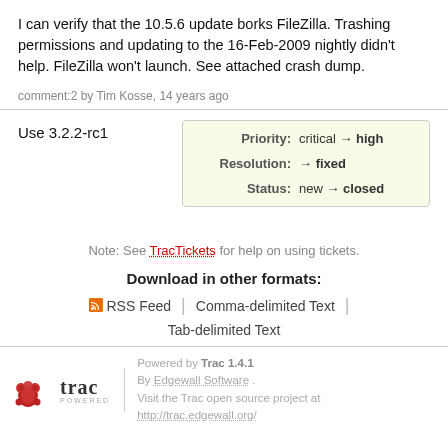I can verify that the 10.5.6 update borks FileZilla. Trashing permissions and updating to the 16-Feb-2009 nightly didn't help. FileZilla won't launch. See attached crash dump.
comment:2 by Tim Kosse, 14 years ago
Use 3.2.2-rc1
| Priority: | critical → high |
| Resolution: | → fixed |
| Status: | new → closed |
Note: See TracTickets for help on using tickets.
Download in other formats:
RSS Feed
Comma-delimited Text
Tab-delimited Text
Powered by Trac 1.4.1 By Edgewall Software . Visit the Trac open source project at http://trac.edgewall.org/